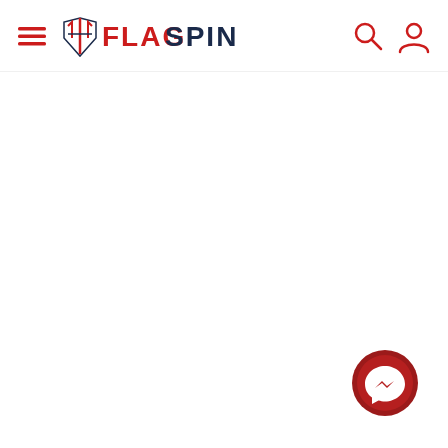[Figure (logo): FlagSpin logo with hamburger menu icon on the left, brand name FLAG SPIN with trident emblem in center, search and user icons on the right]
[Figure (other): Facebook Messenger chat button, dark red circular button with white lightning bolt messenger icon, positioned bottom right]